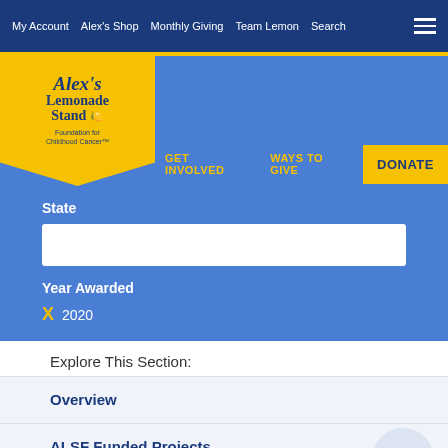My Account  Alex's Shop  Monthly Giving  Team Lemon  Search
[Figure (logo): Alex's Lemonade Stand Foundation for Childhood Cancer logo — yellow pennant shape with dark blue text]
GET INVOLVED   WAYS TO GIVE   DONATE
State
Year Awarded
X  2020
Explore This Section:
Overview
ALSF Funded Projects
POST Recipients